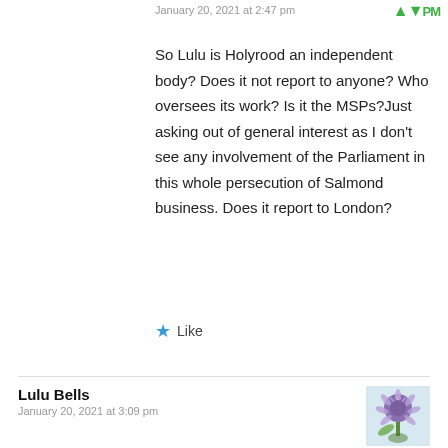January 20, 2021 at 2:47 pm
So Lulu is Holyrood an independent body? Does it not report to anyone? Who oversees its work? Is it the MSPs?Just asking out of general interest as I don't see any involvement of the Parliament in this whole persecution of Salmond business. Does it report to London?
Like
Lulu Bells
January 20, 2021 at 3:09 pm
Cubby, I am not entirely sure about that. I did a bit of digging on their website before work this morning and came up with nothing. I am not sure who the